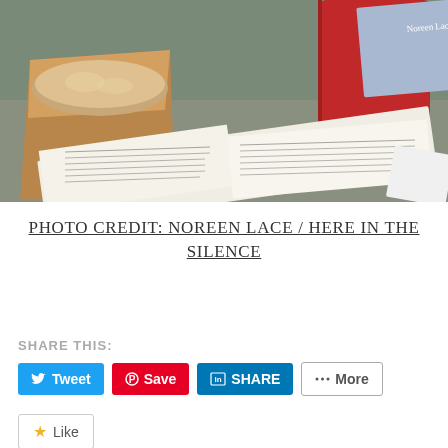[Figure (photo): A photo showing an open book with readable text pages, a sandwich in brown paper bag, a red cup/tumbler, and another book with 'Noreen Lace' visible on the cover, arranged on a surface.]
PHOTO CREDIT: NOREEN LACE / HERE IN THE SILENCE
SHARE THIS:
Tweet  Save  SHARE  More
Like